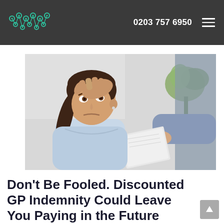ALL MED PRO | 0203 757 6950
[Figure (photo): Stressed young woman with hand on forehead looking at a document being handed to her, being examined by a doctor or official in a blue shirt]
Don't Be Fooled. Discounted GP Indemnity Could Leave You Paying in the Future